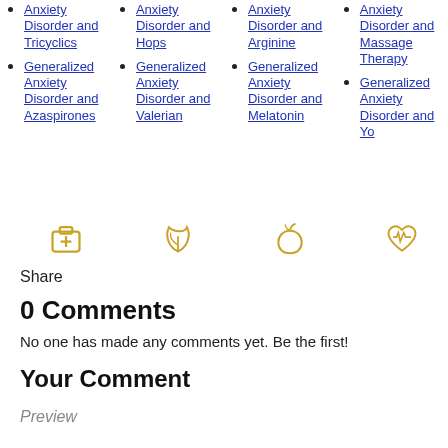Anxiety Disorder and Tricyclics
Generalized Anxiety Disorder and Azaspirones
Anxiety Disorder and Hops
Generalized Anxiety Disorder and Valerian
Anxiety Disorder and Arginine
Generalized Anxiety Disorder and Melatonin
Anxiety Disorder and Massage Therapy
Generalized Anxiety Disorder and Yo...
[Figure (illustration): Four gold icons in a row: medical kit, leaf/nature, apple, heart with EKG]
Share
0 Comments
No one has made any comments yet. Be the first!
Your Comment
Preview